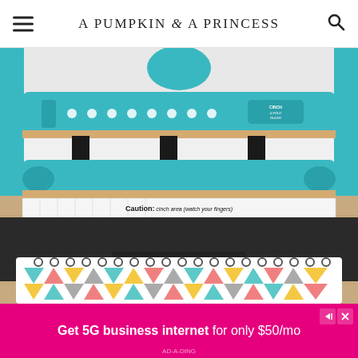A PUMPKIN & A PRINCESS
[Figure (photo): Close-up photo of a teal/turquoise Cinch binding machine with a caution label reading 'Caution: cinch area (watch your fingers)' and a colorful geometric patterned journal/notebook visible at the bottom.]
Get 5G business internet for only $50/mo